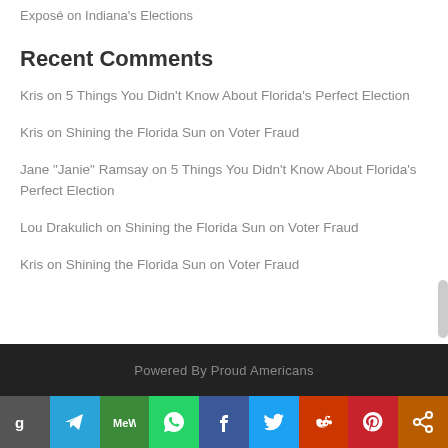Exposé on Indiana's Elections
Recent Comments
Kris on 5 Things You Didn't Know About Florida's Perfect Election
Kris on Shining the Florida Sun on Voter Fraud
Jane "Janie" Ramsay on 5 Things You Didn't Know About Florida's Perfect Election
Lou Drakulich on Shining the Florida Sun on Voter Fraud
Kris on Shining the Florida Sun on Voter Fraud
Powered By Proud Americans